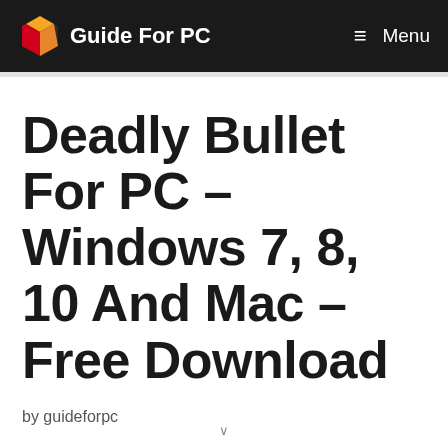Guide For PC   Menu
Deadly Bullet For PC – Windows 7, 8, 10 And Mac – Free Download
by guideforpc